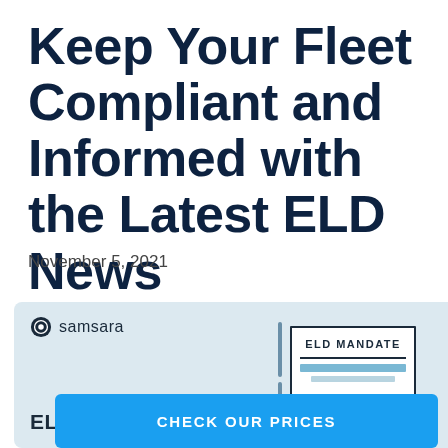Keep Your Fleet Compliant and Informed with the Latest ELD News
November 5, 2021
[Figure (illustration): Samsara branded card with logo and 'ELD Mandate' text on left, alongside an illustrated document box labeled 'ELD MANDATE' with horizontal lines, on a light blue background]
CHECK OUR PRICES